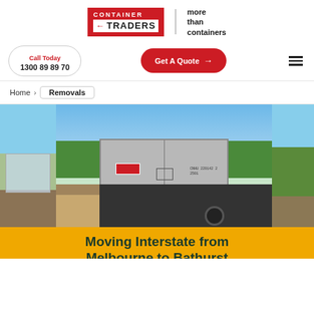[Figure (logo): Container Traders logo — red box with white 'TRADERS' text and left-pointing arrow, accompanied by tagline 'more than containers']
Call Today
1300 89 89 70
Get A Quote →
Home > Removals
[Figure (photo): Three photos: left shows scaffolding/structure, center shows grey shipping container on gravel with trees and flatbed truck, right shows green hedge/garden]
Moving Interstate from Melbourne to Bathurst